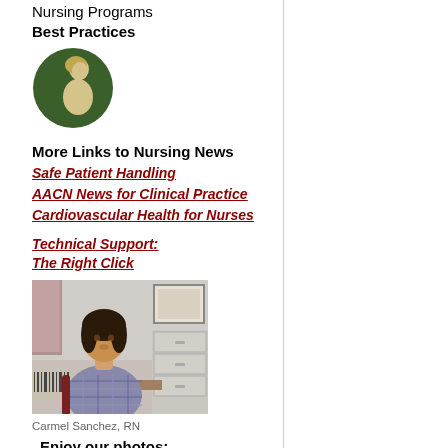Nursing Programs
Best Practices
[Figure (illustration): Circular green icon with a silhouette of a nurse in profile (cream/tan color on dark green background)]
More Links to Nursing News
Safe Patient Handling
AACN News for Clinical Practice
Cardiovascular Health for Nurses
Technical Support:
The Right Click
[Figure (photo): Photo of Carmel Sanchez, RN, a woman with dark hair seated at a desk in an office setting]
Carmel Sanchez, RN
Enjoy our photos:
You may enlarge them by a double click on it.